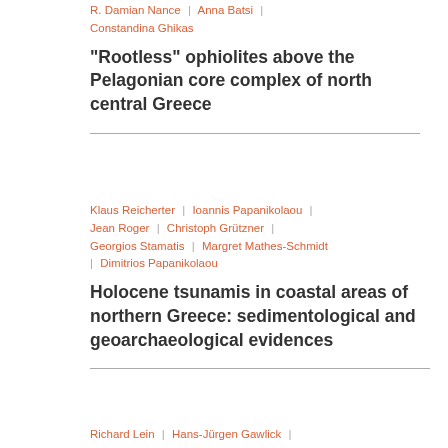R. Damian Nance | Anna Batsi | Constandina Ghikas
“Rootless” ophiolites above the Pelagonian core complex of north central Greece
Klaus Reicherter | Ioannis Papanikolaou | Jean Roger | Christoph Grützner | Georgios Stamatis | Margret Mathes-Schmidt | Dimitrios Papanikolaou
Holocene tsunamis in coastal areas of northern Greece: sedimentological and geoarchaeological evidences
Richard Lein | Hans-Jürgen Gawlick |